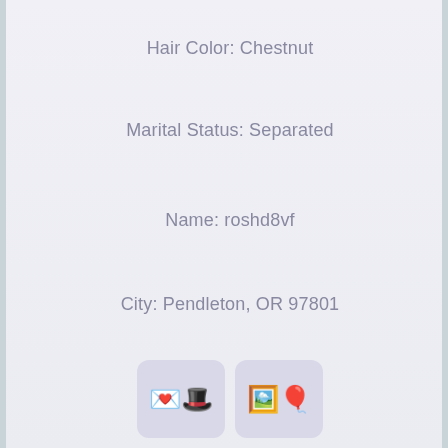Hair Color: Chestnut
Marital Status: Separated
Name: roshd8vf
City: Pendleton, OR 97801
[Figure (illustration): Two icon buttons: one with a heart envelope emoji and a gift/hat emoji, another with a person photo and balloons emoji]
Local cal girl nacked hot play, sexy black housewives seeking men in